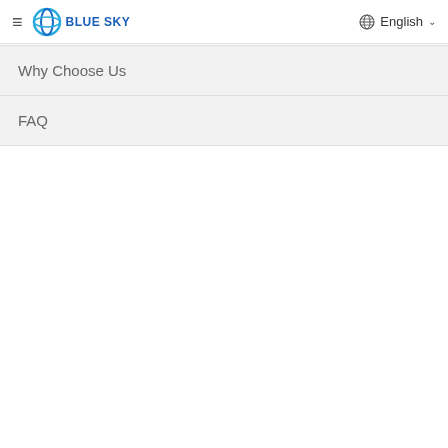≡  BLUE SKY    🌐 English ∨
Why Choose Us
FAQ